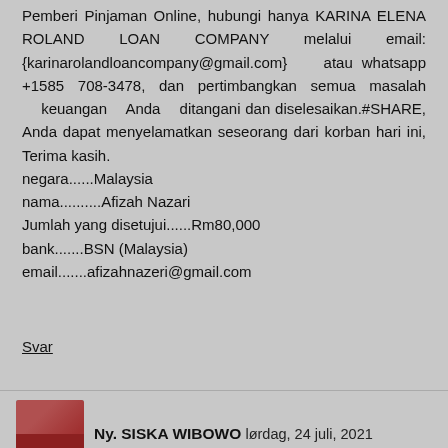Pemberi Pinjaman Online, hubungi hanya KARINA ELENA ROLAND LOAN COMPANY melalui email: {karinarolandloancompany@gmail.com} atau whatsapp +1585 708-3478, dan pertimbangkan semua masalah keuangan Anda ditangani dan diselesaikan.#SHARE, Anda dapat menyelamatkan seseorang dari korban hari ini, Terima kasih.
negara......Malaysia
nama..........Afizah Nazari
Jumlah yang disetujui......Rm80,000
bank.......BSN (Malaysia)
email.......afizahnazeri@gmail.com
Svar
Ny. SISKA WIBOWO lørdag, 24 juli, 2021
Halo semuanya, Nama saya Siska wibowo saya tinggal di Surabaya di Indonesia, saya seorang mahasiswa, saya ingin menggunakan kesempatan ini untuk mengingatkan semua pencari pinjaman untuk sangat berhati-hati karena ada banyak perusahaan pinjaman penipuan dan kejahatan di sini di internet